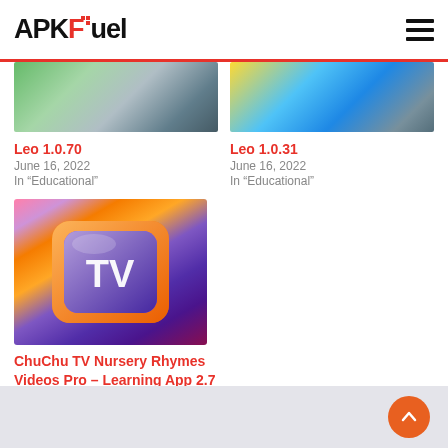APKFuel
[Figure (screenshot): Cropped top portion of Leo 1.0.70 app icon on green background]
Leo 1.0.70
June 16, 2022
In "Educational"
[Figure (screenshot): Cropped top portion of Leo 1.0.31 app icon on blue/yellow background]
Leo 1.0.31
June 16, 2022
In "Educational"
[Figure (screenshot): ChuChu TV app icon with TV logo on orange and purple background]
ChuChu TV Nursery Rhymes Videos Pro – Learning App 2.7
June 14, 2022
In "Apps"
Back to top button